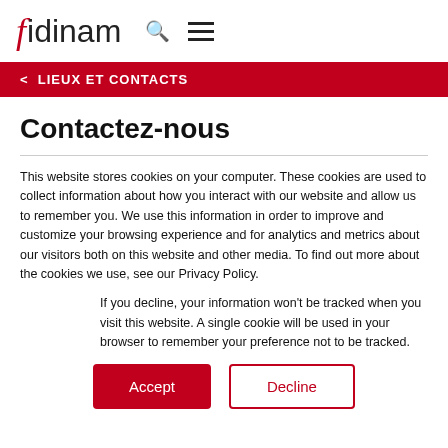fidinam
< LIEUX ET CONTACTS
Contactez-nous
This website stores cookies on your computer. These cookies are used to collect information about how you interact with our website and allow us to remember you. We use this information in order to improve and customize your browsing experience and for analytics and metrics about our visitors both on this website and other media. To find out more about the cookies we use, see our Privacy Policy.
If you decline, your information won't be tracked when you visit this website. A single cookie will be used in your browser to remember your preference not to be tracked.
Accept  Decline